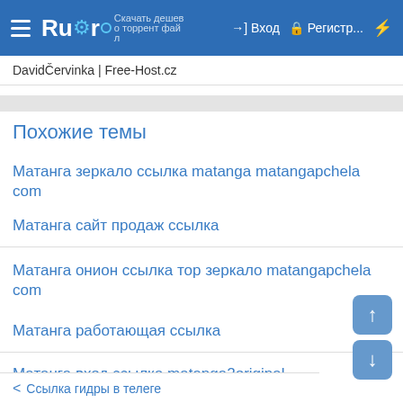Rutor | Вход | Регистр...
DavidČervinka | Free-Host.cz
Похожие темы
Матанга зеркало ссылка matanga matangapchela com
Матанга сайт продаж ссылка
Матанга онион ссылка тор зеркало matangapchela com
Матанга работающая ссылка
Матанга вход ссылка matanga2original
< Ссылка гидры в телеге